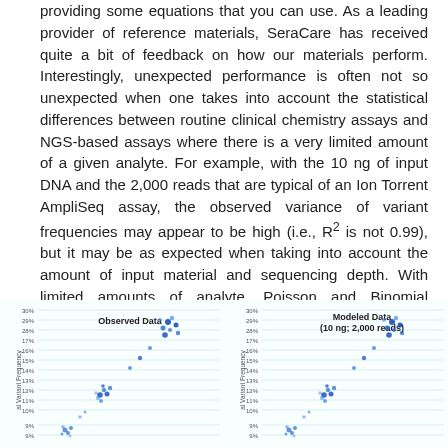providing some equations that you can use. As a leading provider of reference materials, SeraCare has received quite a bit of feedback on how our materials perform. Interestingly, unexpected performance is often not so unexpected when one takes into account the statistical differences between routine clinical chemistry assays and NGS-based assays where there is a very limited amount of a given analyte. For example, with the 10 ng of input DNA and the 2,000 reads that are typical of an Ion Torrent AmpliSeq assay, the observed variance of variant frequencies may appear to be high (i.e., R² is not 0.99), but it may be as expected when taking into account the amount of input material and sequencing depth. With limited amounts of analyte, Poisson and Binomial distributions become relevant.
[Figure (continuous-plot): Scatter plot of observed variant frequency data with dense blue data points forming a diagonal trend from lower left to upper right. Y-axis labeled 'al Variant Frequency' with percentage ticks from 9% to 30%. X-axis not fully visible.]
[Figure (continuous-plot): Scatter plot of modeled variant frequency data (10 ng; 2,000 reads) with dense blue data points forming a diagonal trend from lower left to upper right. Y-axis labeled 'al Variant Frequency' with percentage ticks from 9% to 30%. X-axis not fully visible.]